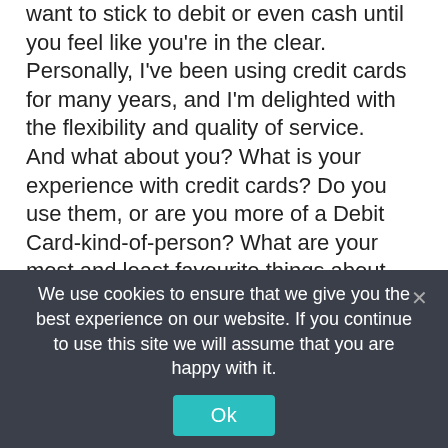want to stick to debit or even cash until you feel like you're in the clear.
Personally, I've been using credit cards for many years, and I'm delighted with the flexibility and quality of service.
And what about you? What is your experience with credit cards? Do you use them, or are you more of a Debit Card-kind-of-person? What are your most and least favourite things about the credit system? Leave me your thoughts, opinions and experiences in the comments below – I always love hearing from you!
We use cookies to ensure that we give you the best experience on our website. If you continue to use this site we will assume that you are happy with it.